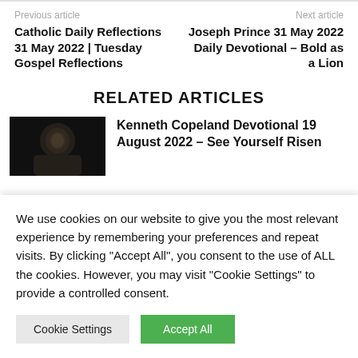Previous article
Next article
Catholic Daily Reflections 31 May 2022 | Tuesday Gospel Reflections
Joseph Prince 31 May 2022 Daily Devotional – Bold as a Lion
RELATED ARTICLES
[Figure (photo): Dark photo of a man's face, partially lit]
Kenneth Copeland Devotional 19 August 2022 – See Yourself Risen
We use cookies on our website to give you the most relevant experience by remembering your preferences and repeat visits. By clicking "Accept All", you consent to the use of ALL the cookies. However, you may visit "Cookie Settings" to provide a controlled consent.
Cookie Settings
Accept All